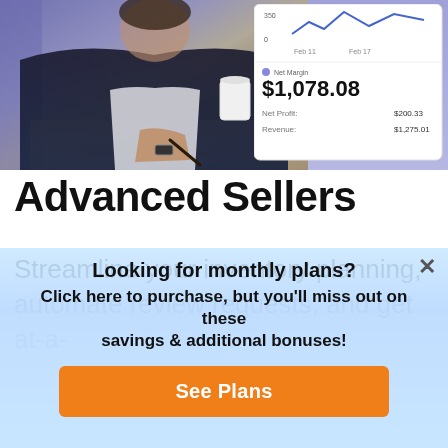[Figure (photo): Photo of a person in a dark suit writing or working at a desk, holding a white cup, with a chart/dashboard UI overlay showing financial data including Net Margin $1,078.08, Net Profit $200.33, Revenue $1,275.01, and a line chart with data from Feb 11 to Feb 17.]
Advanced Sellers
Streamline your inventory planning, automate review requests, and get at-a-
Looking for monthly plans?
Click here to purchase, but you'll miss out on these savings & additional bonuses!
See Plans